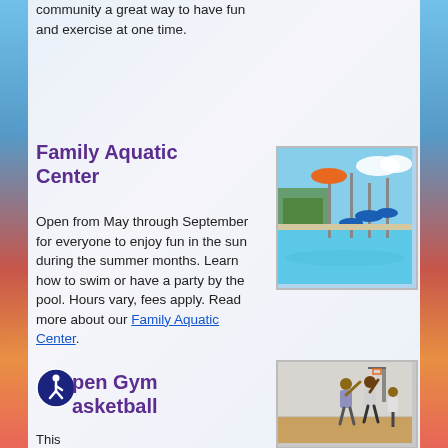community a great way to have fun and exercise at one time.
Family Aquatic Center
[Figure (photo): Outdoor aquatic center with water play structures and blue pool water under a clear sky]
Open from May through September for everyone to enjoy fun in the sun during the summer months. Learn how to swim or have a party by the pool. Hours vary, fees apply. Read more about our Family Aquatic Center.
Open Gym Basketball
[Figure (photo): Two people playing basketball in a gym, reaching up toward a basketball hoop]